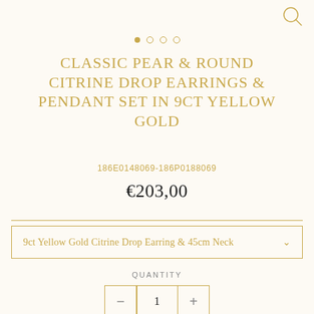[Figure (other): Search icon (magnifying glass) in top right corner]
CLASSIC PEAR & ROUND CITRINE DROP EARRINGS & PENDANT SET IN 9CT YELLOW GOLD
186E0148069-186P0188069
€203,00
9ct Yellow Gold Citrine Drop Earring & 45cm Neck
QUANTITY
1